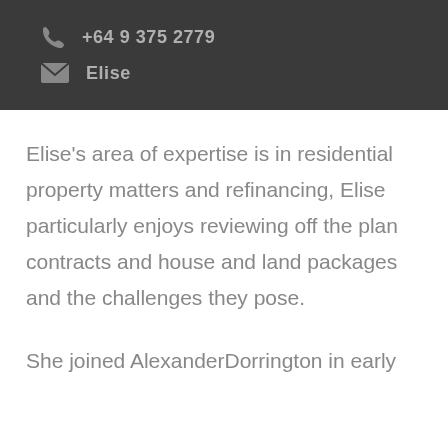[Figure (infographic): Dark header block showing contact information: phone number +64 9 375 2779 with phone icon, and name Elise with email icon, on dark grey background]
Elise's area of expertise is in residential property matters and refinancing, Elise particularly enjoys reviewing off the plan contracts and house and land packages and the challenges they pose.
She joined AlexanderDorrington in early